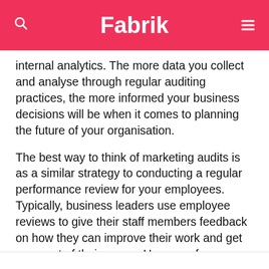Fabrik
internal analytics. The more data you collect and analyse through regular auditing practices, the more informed your business decisions will be when it comes to planning the future of your organisation.
The best way to think of marketing audits is as a similar strategy to conducting a regular performance review for your employees. Typically, business leaders use employee reviews to give their staff members feedback on how they can improve their work and get more out of their career. However, for entrepreneurs, marketing audits will perform the same role. They give you an insight into whether you’re reaching your milestones or not, and what you need to do differently.